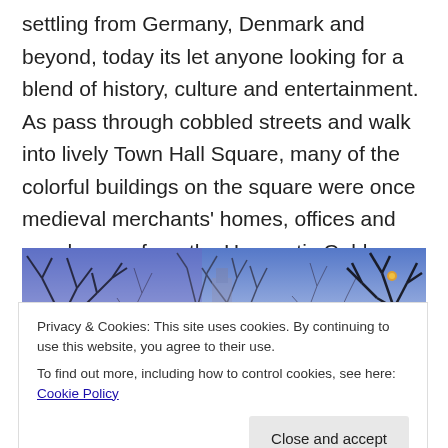settling from Germany, Denmark and beyond, today its let anyone looking for a blend of history, culture and entertainment. As pass through cobbled streets and walk into lively Town Hall Square, many of the colorful buildings on the square were once medieval merchants' homes, offices and warehouses from the Hanseatic Golden Age. The square is spectacular with quaint restaurants, cafes and a mood high nightlife on every corner.
[Figure (photo): A winter photo of bare tree branches silhouetted against a blue-purple sky, with what appears to be a castle or tower visible in the background through the branches.]
Privacy & Cookies: This site uses cookies. By continuing to use this website, you agree to their use.
To find out more, including how to control cookies, see here: Cookie Policy
[Figure (photo): A partial view of a brick building or street scene at the bottom of the page.]